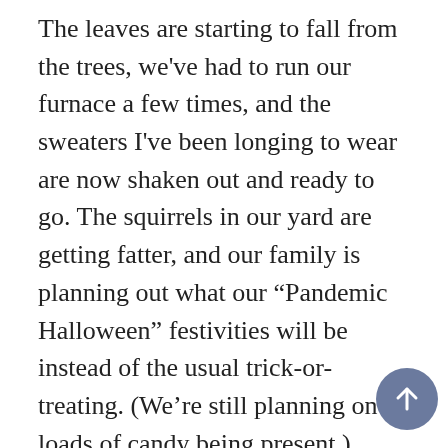The leaves are starting to fall from the trees, we've had to run our furnace a few times, and the sweaters I've been longing to wear are now shaken out and ready to go. The squirrels in our yard are getting fatter, and our family is planning out what our “Pandemic Halloween” festivities will be instead of the usual trick-or-treating. (We’re still planning on loads of candy being present.)
But even so, I’m not fully present for any of it. There’s so much that I’m missing. It was a feeling that was difficult to articulate, but I figured it out the other day: I was missing wonder. Don’t misunderstand: I’m thankful t